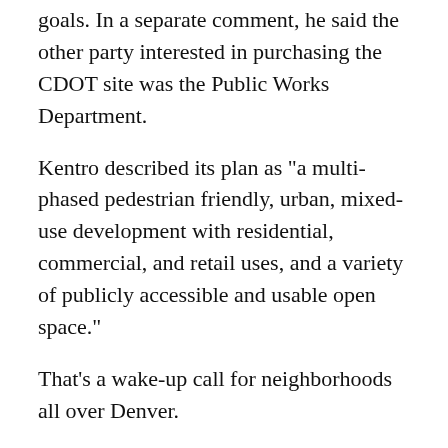goals. In a separate comment, he said the other party interested in purchasing the CDOT site was the Public Works Department.
Kentro described its plan as "a multi-phased pedestrian friendly, urban, mixed-use development with residential, commercial, and retail uses, and a variety of publicly accessible and usable open space."
That's a wake-up call for neighborhoods all over Denver.
For more information about the project, the first link below leads to the KRF Arkansas, LLC / Kentro Group's lengthy application for rezoning and a review criteria narrative submitted in May 2018. This document recaps several meetings involving the developer and the community that will live with the project. The document was prepared by Norris Design, but I look forward to learning who will be planning and designing this